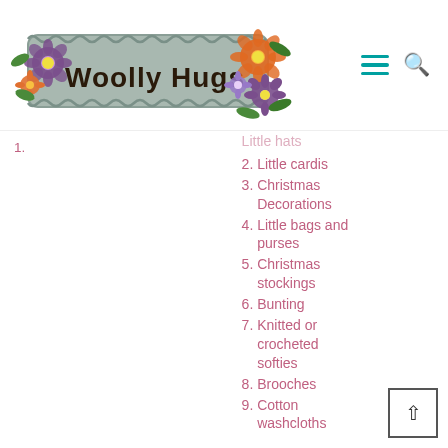[Figure (logo): Woolly Hugs logo — a grey crocheted banner with colourful flowers and the text 'Woolly Hugs' in dark handwritten script]
1.
2. Little cardis
3. Christmas Decorations
4. Little bags and purses
5. Christmas stockings
6. Bunting
7. Knitted or crocheted softies
8. Brooches
9. Cotton washcloths